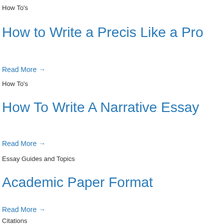How To's
How to Write a Precis Like a Pro
Read More →
How To's
How To Write A Narrative Essay
Read More →
Essay Guides and Topics
Academic Paper Format
Read More →
Citations